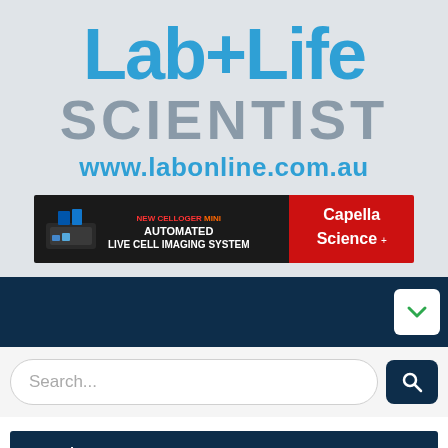[Figure (logo): Lab+Life Scientist magazine logo with website URL www.labonline.com.au on grey background]
[Figure (screenshot): Advertisement banner for NEW CELLOGER MINI AUTOMATED LIVE CELL IMAGING SYSTEM by Capella Science, black left section with red text and white bold text, red right section with Capella Science logo]
[Figure (screenshot): Dark navy navigation bar with white dropdown chevron button on the right]
[Figure (screenshot): Search bar with placeholder text 'Search...' and dark navy search button with magnifying glass icon]
Products